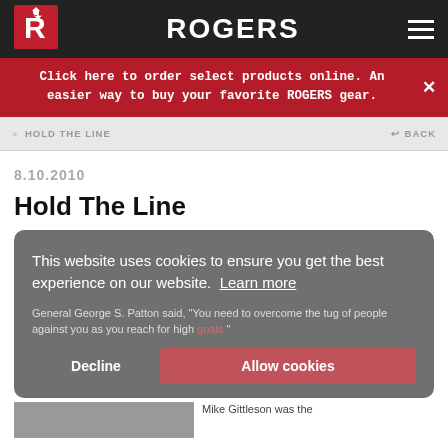ROGERS
Click here to order select products online. An easier way to buy your favorite ROGERS gear.
» HOLD THE LINE    ↩ BACK
8.10.2010
Hold The Line
This website uses cookies to ensure you get the best experience on our website.  Learn more
Decline    Allow cookies
General George S. Patton said, "You need to overcome the tug of people against you as you reach for high goals."
Mike Gittleson was the